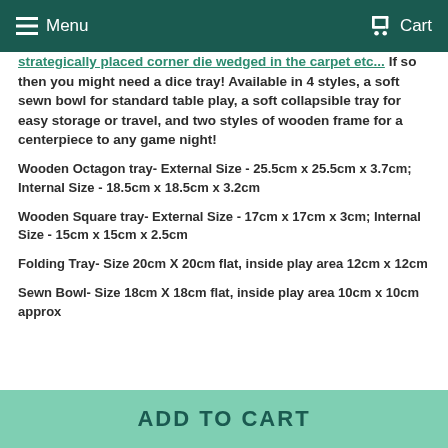Menu  Cart
strategically placed corner die wedged in the carpet etc... If so then you might need a dice tray! Available in 4 styles, a soft sewn bowl for standard table play, a soft collapsible tray for easy storage or travel, and two styles of wooden frame for a centerpiece to any game night!
Wooden Octagon tray- External Size - 25.5cm x 25.5cm x 3.7cm; Internal Size - 18.5cm x 18.5cm x 3.2cm
Wooden Square tray- External Size - 17cm x 17cm x 3cm; Internal Size - 15cm x 15cm x 2.5cm
Folding Tray- Size 20cm X 20cm flat, inside play area 12cm x 12cm
Sewn Bowl- Size 18cm X 18cm flat, inside play area 10cm x 10cm approx
ADD TO CART